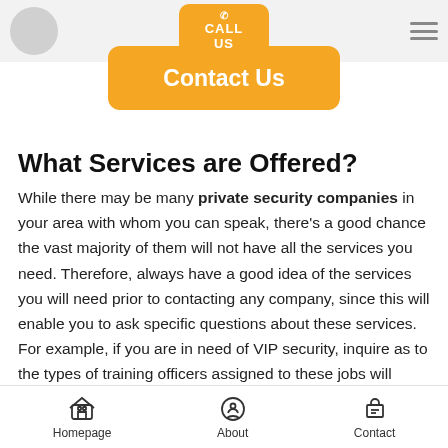[Figure (screenshot): Top navigation bar with logo circle on left, hamburger menu on right, and orange Call Us tab and Contact Us button in center]
What Services are Offered?
While there may be many private security companies in your area with whom you can speak, there's a good chance the vast majority of them will not have all the services you need. Therefore, always have a good idea of the services you will need prior to contacting any company, since this will enable you to ask specific questions about these services. For example, if you are in need of VIP security, inquire as to the types of training officers assigned to these jobs will possess. To make sure safety is always the highest priority, it's best to work with a security company that trains its
Homepage   About   Contact